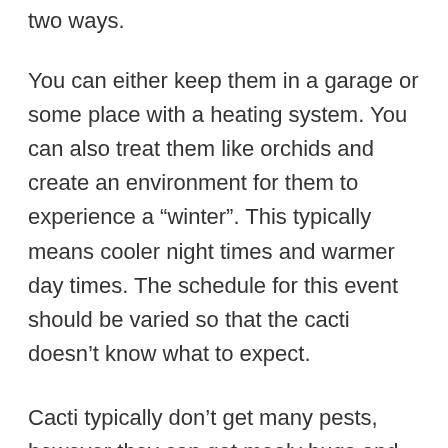two ways.
You can either keep them in a garage or some place with a heating system. You can also treat them like orchids and create an environment for them to experience a “winter”. This typically means cooler night times and warmer day times. The schedule for this event should be varied so that the cacti doesn’t know what to expect.
Cacti typically don’t get many pests, however they can get mealy bugs and scale insects. The best way to treat them is to dab them with a cotton swab that has been soaked in alcohol.
Cacti typically are long living plants, but some are more